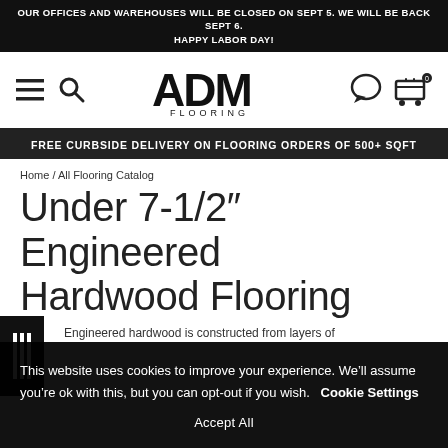OUR OFFICES AND WAREHOUSES WILL BE CLOSED ON SEPT 5. WE WILL BE BACK SEPT 6. HAPPY LABOR DAY!
[Figure (logo): ADM Flooring logo with hamburger menu and search icon on left, shopping cart and chat icon on right]
FREE CURBSIDE DELIVERY ON FLOORING ORDERS OF 500+ SQFT
Home / All Flooring Catalog
Under 7-1/2" Engineered Hardwood Flooring
Engineered hardwood is constructed from layers of
This website uses cookies to improve your experience. We'll assume you're ok with this, but you can opt-out if you wish.  Cookie Settings
Accept All